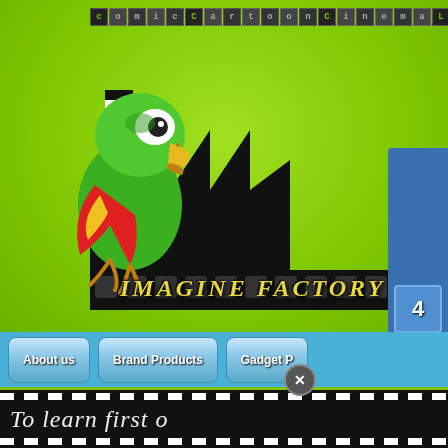[Figure (screenshot): Comic Cartoon Cinema Legends website header with film tile letters, parrot mascot, factory silhouette, Imagine Factory logo, blue navigation bar with About us, Brand Products, Gadget P buttons, counter box, black film banner with To learn first text, breadcrumb navigation, and product info box for 001-0105 Fancy Mecha]
ComicCartoonCinemaLegen
IMAGINE FACTORY
About us
Brand Products
Gadget P
To learn first o
Top » Catalog » |Gadget Products » Vintage 3D Alarm Clocks with Mot » 0010105
001-0105 FANCY MECHA
[0010105]